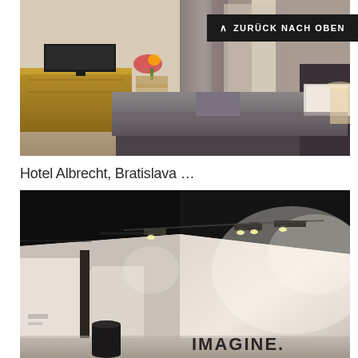[Figure (photo): Hotel room interior with a large bed with grey bedding, wooden desk with flowers, curtained window, modern furnishings]
[Figure (screenshot): Back to top navigation button with chevron arrow and text ZURÜCK NACH OBEN on dark background]
Hotel Albrecht, Bratislava …
[Figure (photo): Modern exhibition or showroom space with dark ceiling, track lighting, white walls, and IMAGINE. text visible in lower right corner]